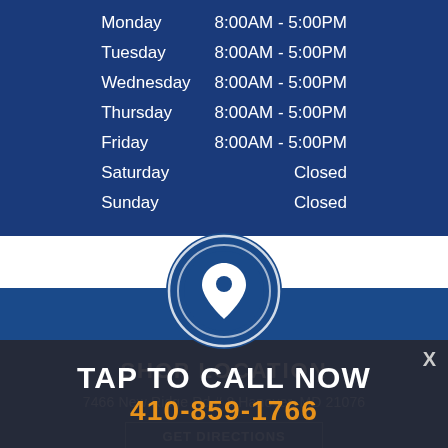| Day | Hours |
| --- | --- |
| Monday | 8:00AM - 5:00PM |
| Tuesday | 8:00AM - 5:00PM |
| Wednesday | 8:00AM - 5:00PM |
| Thursday | 8:00AM - 5:00PM |
| Friday | 8:00AM - 5:00PM |
| Saturday | Closed |
| Sunday | Closed |
[Figure (illustration): Location pin icon inside two concentric circles on a blue background]
SHOP LOCATION
7466 New Ridge Rd # 8 Hanover, MD 21076
GET DIRECTIONS
TAP TO CALL NOW
410-859-1766